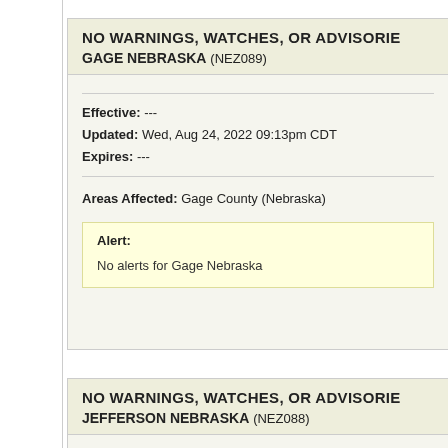NO WARNINGS, WATCHES, OR ADVISORIES
GAGE NEBRASKA (NEZ089)
Effective: ---
Updated: Wed, Aug 24, 2022 09:13pm CDT
Expires: ---
Areas Affected: Gage County (Nebraska)
Alert: No alerts for Gage Nebraska
NO WARNINGS, WATCHES, OR ADVISORIES
JEFFERSON NEBRASKA (NEZ088)
Effective: ---
Updated: Wed, Aug 24, 2022 09:13pm CDT